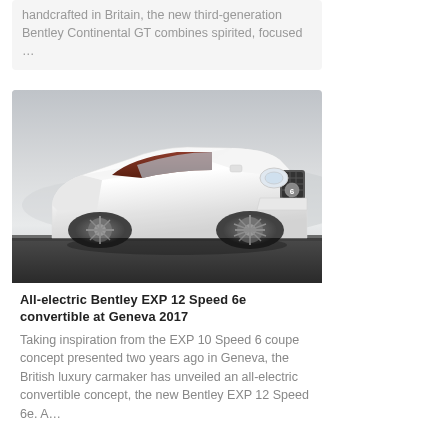handcrafted in Britain, the new third-generation Bentley Continental GT combines spirited, focused …
[Figure (photo): White Bentley EXP 12 Speed 6e convertible concept car shown from front three-quarter angle against a misty grey background]
All-electric Bentley EXP 12 Speed 6e convertible at Geneva 2017
Taking inspiration from the EXP 10 Speed 6 coupe concept presented two years ago in Geneva, the British luxury carmaker has unveiled an all-electric convertible concept, the new Bentley EXP 12 Speed 6e. A…